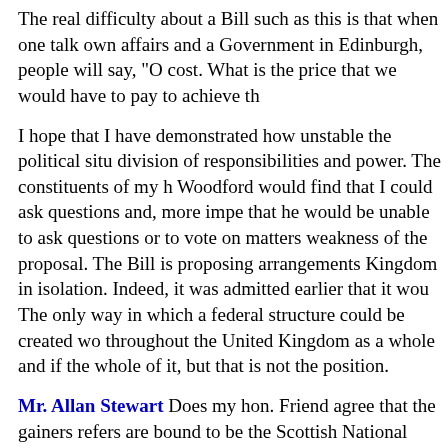The real difficulty about a Bill such as this is that when one talks about managing own affairs and a Government in Edinburgh, people will say, "Of course, but at what cost. What is the price that we would have to pay to achieve this?"
I hope that I have demonstrated how unstable the political situation would be with any division of responsibilities and power. The constituents of my hon. Friend the Member for Woodford would find that I could ask questions and, more importantly, vote on matters that he would be unable to ask questions or to vote on matters affecting them. That is the weakness of the proposal. The Bill is proposing arrangements for one part of the United Kingdom in isolation. Indeed, it was admitted earlier that it would not be a federal structure. The only way in which a federal structure could be created would be if it were created throughout the United Kingdom as a whole and if the whole of the United Kingdom agreed to it, but that is not the position.
Mr. Allan Stewart Does my hon. Friend agree that the gainers from the confusion he refers are bound to be the Scottish National party which, these days, is even more committed to traditional socialism than even the Scottish Labour party?
Mr. Walker My hon. Friend pre-empts me. I have just picked up a note dealing with that. The tragedy is that the separatists are helped every time that such a convention and this Bill are introduced, because once they have